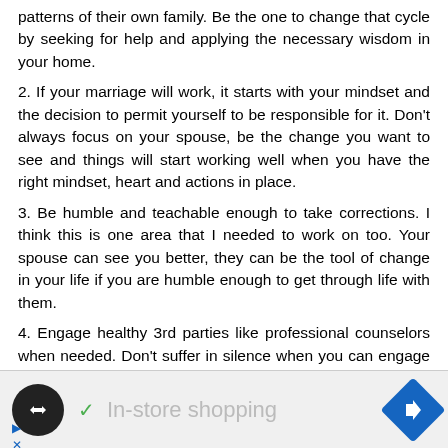patterns of their own family. Be the one to change that cycle by seeking for help and applying the necessary wisdom in your home.
2. If your marriage will work, it starts with your mindset and the decision to permit yourself to be responsible for it. Don't always focus on your spouse, be the change you want to see and things will start working well when you have the right mindset, heart and actions in place.
3. Be humble and teachable enough to take corrections. I think this is one area that I needed to work on too. Your spouse can see you better, they can be the tool of change in your life if you are humble enough to get through life with them.
4. Engage healthy 3rd parties like professional counselors when needed. Don't suffer in silence when you can engage a neutral help instead of friends and families.
n the right skills and be willing to implement it. Be patient
[Figure (screenshot): Advertisement bar with a circular black logo with double arrow icon, a green checkmark followed by 'In-store shopping' text in gray, and a blue diamond-shaped navigation icon on the right.]